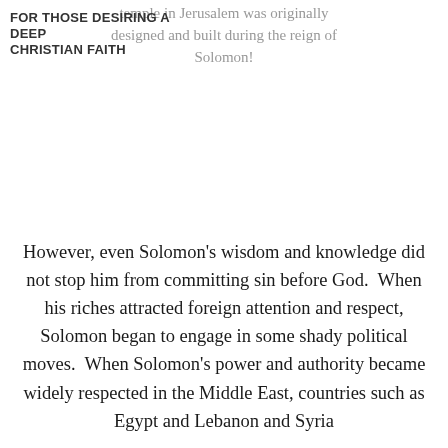FOR THOSE DESIRING A DEEP CHRISTIAN FAITH
temple in Jerusalem was originally designed and built during the reign of Solomon!
However, even Solomon's wisdom and knowledge did not stop him from committing sin before God.  When his riches attracted foreign attention and respect, Solomon began to engage in some shady political moves.  When Solomon's power and authority became widely respected in the Middle East, countries such as Egypt and Lebanon and Syria